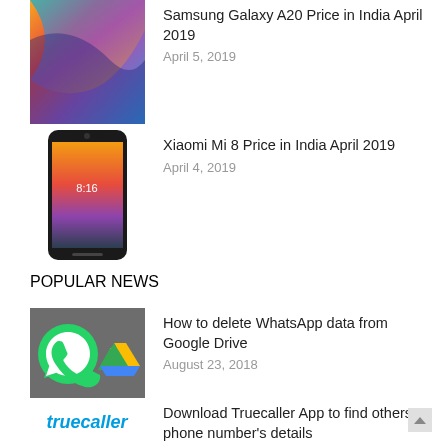Samsung Galaxy A20 Price in India April 2019
April 5, 2019
Xiaomi Mi 8 Price in India April 2019
April 4, 2019
POPULAR NEWS
How to delete WhatsApp data from Google Drive
August 23, 2018
Download Truecaller App to find others phone number's details
March 28, 2018